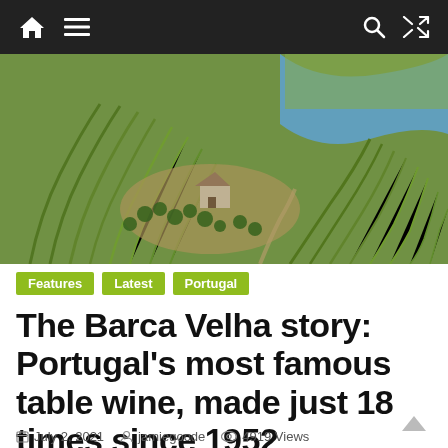Navigation bar with home, menu, search, and shuffle icons
[Figure (photo): Aerial view of terraced vineyards along a river in Portugal, with a small farmhouse in the center, rows of grapevines on hillsides, olive trees, and the river visible in the background]
Features  Latest  Portugal
The Barca Velha story: Portugal's most famous table wine, made just 18 times since 1952
July 2, 2021  jamiegoode  4919 Views